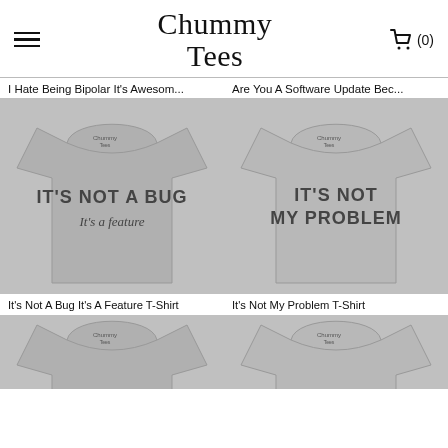Chummy Tees | (0)
I Hate Being Bipolar It's Awesom...
Are You A Software Update Bec...
[Figure (photo): Gray t-shirt with text IT'S NOT A BUG It's a feature]
[Figure (photo): Gray t-shirt with text IT'S NOT MY PROBLEM]
It's Not A Bug It's A Feature T-Shirt
It's Not My Problem T-Shirt
[Figure (photo): Gray t-shirt with text Beer (partial view)]
[Figure (photo): Gray t-shirt with text THINK (partial view)]